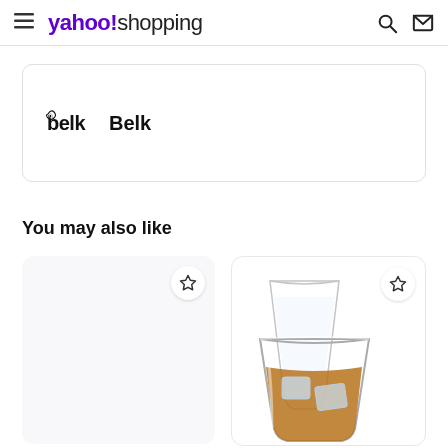yahoo!shopping
[Figure (logo): Belk retailer logo with word mark 'Belk' inside a rounded card]
You may also like
[Figure (photo): Empty light gray product card with star/bookmark icon]
[Figure (photo): Product card showing two whiskey/rocks glasses, one tall and one short with amber liquid and ice, with star/bookmark icon]